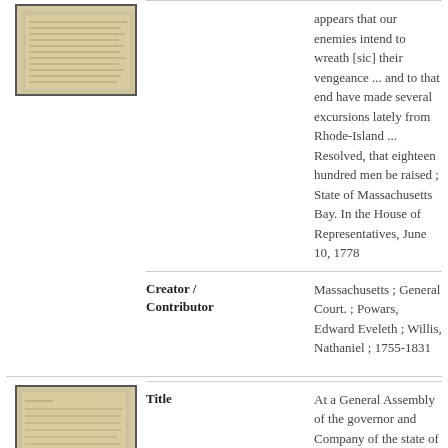[Figure (photo): Thumbnail image of an aged manuscript document, first record]
appears that our enemies intend to wreath [sic] their vengeance ... and to that end have made several excursions lately from Rhode-Island ... Resolved, that eighteen hundred men be raised ; State of Massachusetts Bay. In the House of Representatives, June 10, 1778
Creator / Contributor
Massachusetts ; General Court. ; Powars, Edward Eveleth ; Willis, Nathaniel ; 1755-1831
[Figure (photo): Thumbnail image of an aged manuscript document, second record]
Title
At a General Assembly of the governor and Company of the state of Connecticut: holden at Hartford, by adjournment, on the 12th day of February, A.D. 1778. : An act for raising two brigades for the defence of this state ; Act for raising two brigades for the defence of this state
Creator / Contributor
Connecticut ; General Assembly.